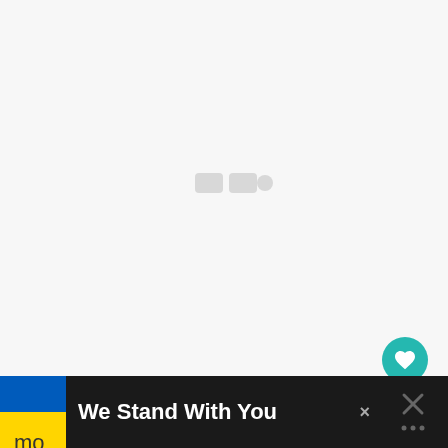[Figure (screenshot): Large light gray empty content area with faint watermark icons in center, representing a webpage screenshot with a mostly blank/loading content region]
[Figure (other): Floating circular teal heart button and white share button on right side of page]
From the few ads that I saw, rent is way
[Figure (infographic): Dark advertisement banner bar at bottom showing Ukraine flag (blue and yellow) with bold white text 'We Stand With You', a close X button, and a dark right panel with X icon and dots]
mo
ge